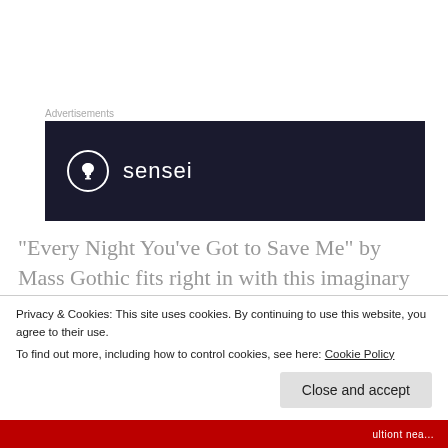[Figure (logo): Sensei advertisement banner with dark navy background, circular logo with bonsai tree icon, and 'sensei' text in white]
“Every Night You’ve Got to Save Me” by Mass Gothic fits right in with this imaginary list of upbeat montage movie songs. It’s also a song that you know sounds good live. Big, bright and jangly, “Every Night You’ve Got to Save Me” belongs at an outdoor music festival.
Privacy & Cookies: This site uses cookies. By continuing to use this website, you agree to their use. To find out more, including how to control cookies, see here: Cookie Policy